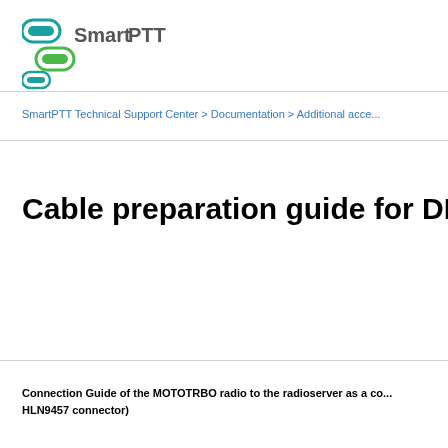[Figure (logo): SmartPTT logo with teal/blue pill-shaped icons and 'SmartPTT' text]
SmartPTT Technical Support Center > Documentation > Additional acce...
Cable preparation guide for DM100...
Connection Guide of the MOTOTRBO radio to the radioserver as a co... HLN9457 connector)